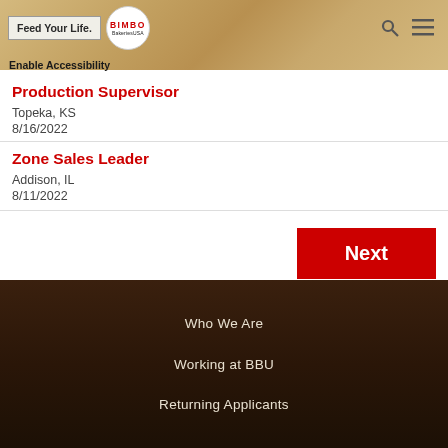[Figure (logo): Bimbo Bakeries USA header with 'Feed Your Life.' and BIMBO logos on wood-grain background, search and menu icons]
Enable Accessibility
Production Supervisor
Topeka, KS
8/16/2022
Zone Sales Leader
Addison, IL
8/11/2022
Next
Who We Are
Working at BBU
Returning Applicants